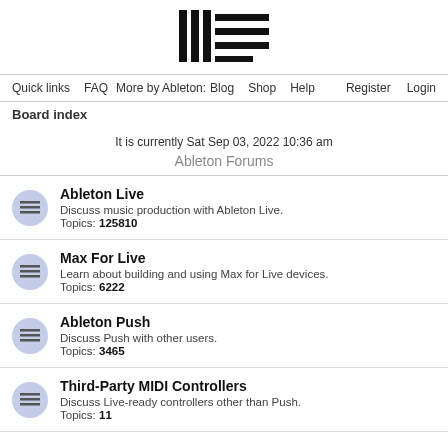[Figure (logo): Ableton logo with vertical bars and horizontal lines]
Quick links  FAQ  More by Ableton:  Blog  Shop  Help  Register  Login
Board index
It is currently Sat Sep 03, 2022 10:36 am
Ableton Forums
Ableton Live
Discuss music production with Ableton Live.
Topics: 125810
Max For Live
Learn about building and using Max for Live devices.
Topics: 6222
Ableton Push
Discuss Push with other users.
Topics: 3465
Third-Party MIDI Controllers
Discuss Live-ready controllers other than Push.
Topics: 11